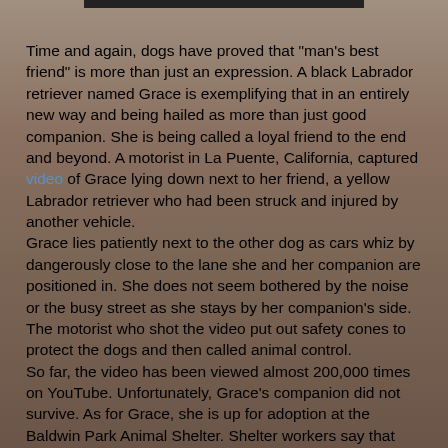[Figure (photo): Dark brown coffee beans background with a faint wisp of smoke or steam rising, providing a warm moody backdrop to the text content.]
Time and again, dogs have proved that "man's best friend" is more than just an expression. A black Labrador retriever named Grace is exemplifying that in an entirely new way and being hailed as more than just good companion. She is being called a loyal friend to the end and beyond. A motorist in La Puente, California, captured video of Grace lying down next to her friend, a yellow Labrador retriever who had been struck and injured by another vehicle.
Grace lies patiently next to the other dog as cars whiz by dangerously close to the lane she and her companion are positioned in. She does not seem bothered by the noise or the busy street as she stays by her companion's side. The motorist who shot the video put out safety cones to protect the dogs and then called animal control.
So far, the video has been viewed almost 200,000 times on YouTube. Unfortunately, Grace's companion did not survive. As for Grace, she is up for adoption at the Baldwin Park Animal Shelter. Shelter workers say that she appears to have been well cared for, but no owner has come forward yet